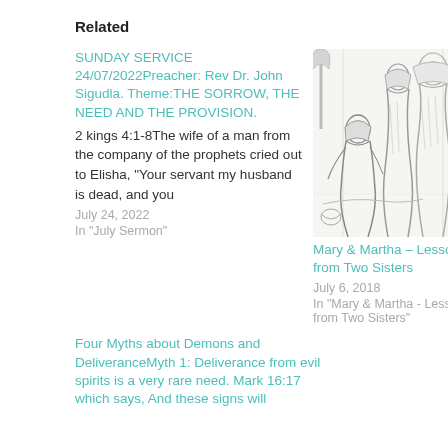Related
SUNDAY SERVICE 24/07/2022Preacher: Rev Dr. John Sigudla. Theme:THE SORROW, THE NEED AND THE PROVISION.
2 kings 4:1-8The wife of a man from the company of the prophets cried out to Elisha, "Your servant my husband is dead, and you
July 24, 2022
In "July Sermon"
[Figure (illustration): Pencil sketch illustration of biblical scene showing figures including Mary and Martha]
Mary & Martha – Lessons from Two Sisters
July 6, 2018
In "Mary & Martha - Lessons from Two Sisters"
Four Myths about Demons and DeliveranceMyth 1: Deliverance from evil spirits is a very rare need. Mark 16:17 which says, And these signs will